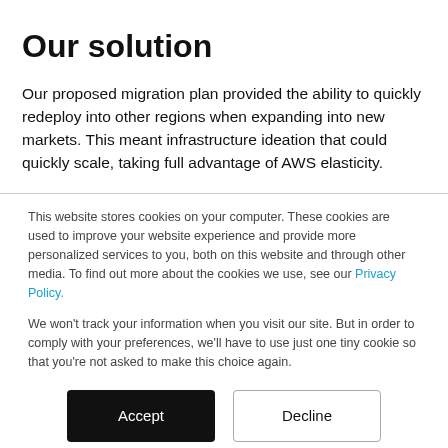Our solution
Our proposed migration plan provided the ability to quickly redeploy into other regions when expanding into new markets. This meant infrastructure ideation that could quickly scale, taking full advantage of AWS elasticity.
This website stores cookies on your computer. These cookies are used to improve your website experience and provide more personalized services to you, both on this website and through other media. To find out more about the cookies we use, see our Privacy Policy.
We won't track your information when you visit our site. But in order to comply with your preferences, we'll have to use just one tiny cookie so that you're not asked to make this choice again.